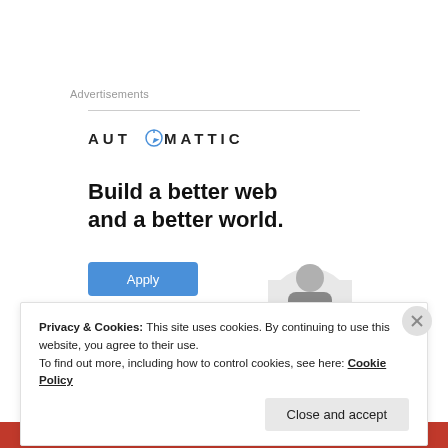Advertisements
[Figure (logo): Automattic logo with compass icon replacing the letter O]
Build a better web and a better world.
[Figure (photo): Apply button (blue) and partial photo of a person looking upward]
Privacy & Cookies: This site uses cookies. By continuing to use this website, you agree to their use.
To find out more, including how to control cookies, see here: Cookie Policy
Close and accept